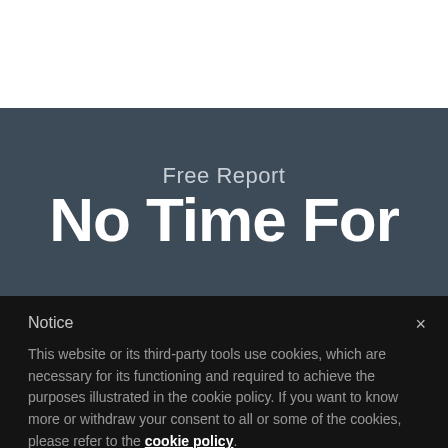Free Report
No Time For
Notice
This website or its third-party tools use cookies, which are necessary for its functioning and required to achieve the purposes illustrated in the cookie policy. If you want to know more or withdraw your consent to all or some of the cookies, please refer to the cookie policy. By closing this banner, scrolling this page, clicking a link or continuing to browse otherwise, you agree to the use of cookies.